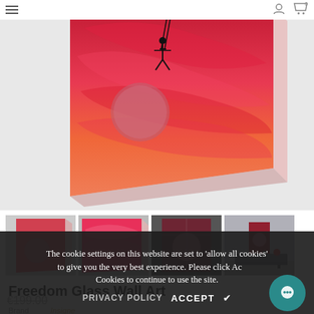[Figure (photo): Main product image of Freedom Glass Wall Art - a glass panel showing a figure on a swing against a vivid red/orange sky with a large moon]
[Figure (photo): Thumbnail 1: Glass wall art panel showing moon and red sky]
[Figure (photo): Thumbnail 2: Close-up of the red/pink glass art panel edge]
[Figure (photo): Thumbnail 3: Front view of glass wall art, dark background]
[Figure (photo): Thumbnail 4: Glass wall art displayed on wall above a sideboard in a room setting]
Freedom Glass Wall Art
The cookie settings on this website are set to 'allow all cookies' to give you the very best experience. Please click Accept Cookies to continue to use the site.
PRIVACY POLICY   ACCEPT  ✔
Brand   Insigne
SKU   CAM-5074(72x46)
€199.00